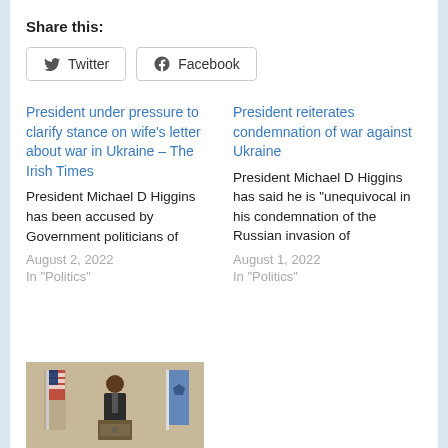Share this:
Twitter
Facebook
President under pressure to clarify stance on wife’s letter about war in Ukraine – The Irish Times
President Michael D Higgins has been accused by Government politicians of
August 2, 2022
In "Politics"
President reiterates condemnation of war against Ukraine
President Michael D Higgins has said he is “unequivocal in his condemnation of the Russian invasion of
August 1, 2022
In "Politics"
[Figure (photo): A person standing at a podium between an American flag and another blue flag with a symbol, in front of beige curtains.]